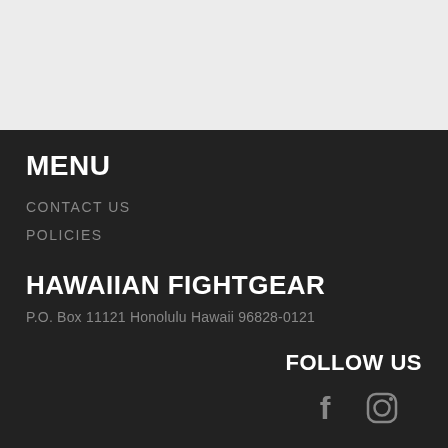[Figure (other): Light gray top section background]
MENU
CONTACT US
POLICIES
HAWAIIAN FIGHTGEAR
P.O. Box 11121 Honolulu Hawaii 96828-0121
FOLLOW US
[Figure (other): Social media icons: Facebook (f) and Instagram (camera) in gray]